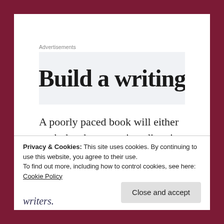Advertisements
[Figure (screenshot): Advertisement banner with partial text 'Build a writing...' visible on a light grey background]
A poorly paced book will either push the characters in a direction too quickly (movies based on books do this often), or it will drag for so long that you get bored and put the novel down without finishing it. There is no right
Privacy & Cookies: This site uses cookies. By continuing to use this website, you agree to their use.
To find out more, including how to control cookies, see here: Cookie Policy
writers.